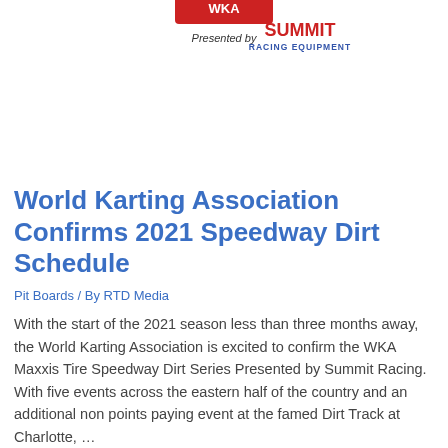[Figure (logo): World Karting Association Speedway Dirt Series badge/logo presented by Summit Racing Equipment — circular grey and red design with text 'SPEEDWAY DIRT SERIES' across the bottom arc]
World Karting Association Confirms 2021 Speedway Dirt Schedule
Pit Boards / By RTD Media
With the start of the 2021 season less than three months away, the World Karting Association is excited to confirm the WKA Maxxis Tire Speedway Dirt Series Presented by Summit Racing. With five events across the eastern half of the country and an additional non points paying event at the famed Dirt Track at Charlotte, …
Read More »